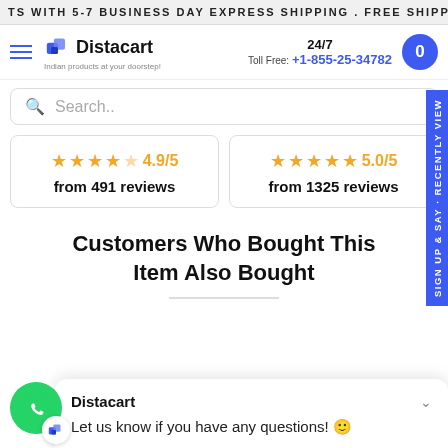TS WITH 5-7 BUSINESS DAY EXPRESS SHIPPING . FREE SHIPP
[Figure (logo): Distacart logo with hamburger menu, 24/7 Toll Free contact +1-855-25-34782, and cart button]
Search..
[Figure (infographic): Two review rating cards: 4.9/5 from 491 reviews and 5.0/5 from 1325 reviews]
Customers Who Bought This Item Also Bought
Distacart
Let us know if you have any questions! 😊